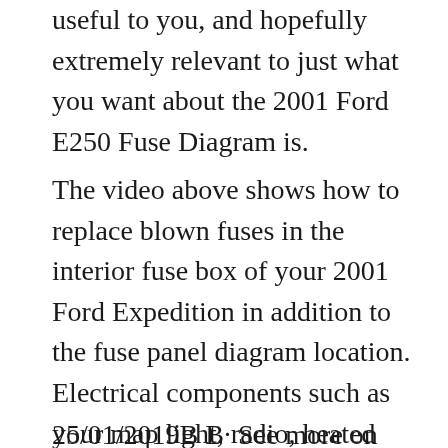useful to you, and hopefully extremely relevant to just what you want about the 2001 Ford E250 Fuse Diagram is.
The video above shows how to replace blown fuses in the interior fuse box of your 2001 Ford Expedition in addition to the fuse panel diagram location. Electrical components such as your map light, radio, heated seats, high beams, power windows all have fuses and if they suddenly stop working, chances are you have a fuse that has blown out. If In this video we show where you can find the main fuse box on a Range Rover Evoque. You can also find links to the owners manual and fuse diagram above.
25/01/2019B B· See more on our website: